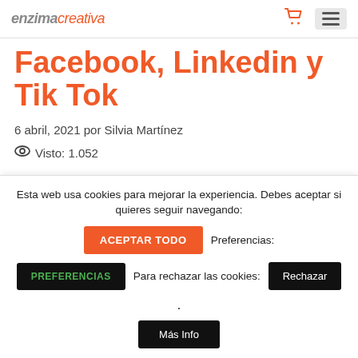enzimacreativa
Facebook, Linkedin y Tik Tok
6 abril, 2021 por Silvia Martínez
Visto: 1.052
Gestión de Anuncios en Redes Sociales
Esta web usa cookies para mejorar la experiencia. Debes aceptar si quieres seguir navegando: ACEPTAR TODO Preferencias: PREFERENCIAS Para rechazar las cookies: Rechazar. Más Info